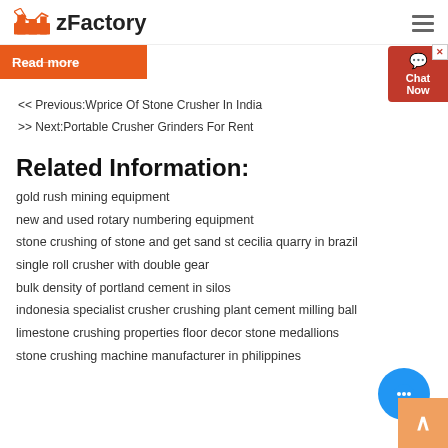zFactory
Read more
<< Previous:Wprice Of Stone Crusher In India
>> Next:Portable Crusher Grinders For Rent
Related Information:
gold rush mining equipment
new and used rotary numbering equipment
stone crushing of stone and get sand st cecilia quarry in brazil
single roll crusher with double gear
bulk density of portland cement in silos
indonesia specialist crusher crushing plant cement milling ball
limestone crushing properties floor decor stone medallions
stone crushing machine manufacturer in philippines